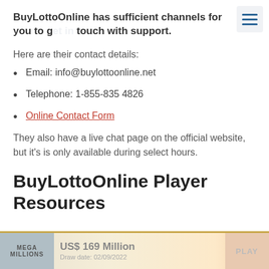BuyLottoOnline has sufficient channels for you to get in touch with support.
Here are their contact details:
Email: info@buylottoonline.net
Telephone: 1-855-835 4826
Online Contact Form
They also have a live chat page on the official website, but it's is only available during select hours.
BuyLottoOnline Player Resources